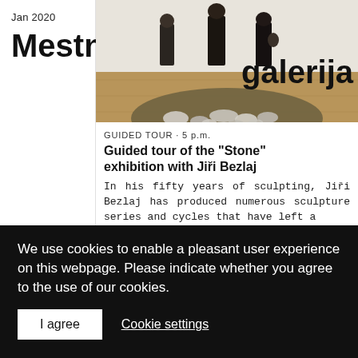Jan 2020
Mestna galerija
[Figure (photo): Interior gallery photo showing sculptures (stones/rocks) arranged in a circular rug on a parquet floor, with visitors in the background]
GUIDED TOUR · 5 p.m.
Guided tour of the "Stone" exhibition with Jiři Bezlaj
In his fifty years of sculpting, Jiři Bezlaj has produced numerous sculpture series and cycles that have left a
We use cookies to enable a pleasant user experience on this webpage. Please indicate whether you agree to the use of our cookies.
I agree
Cookie settings